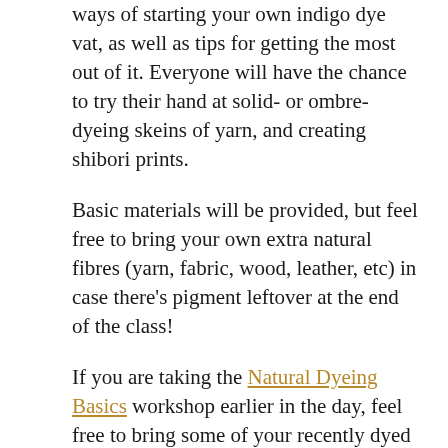ways of starting your own indigo dye vat, as well as tips for getting the most out of it. Everyone will have the chance to try their hand at solid- or ombre- dyeing skeins of yarn, and creating shibori prints.
Basic materials will be provided, but feel free to bring your own extra natural fibres (yarn, fabric, wood, leather, etc) in case there's pigment leftover at the end of the class!
If you are taking the Natural Dyeing Basics workshop earlier in the day, feel free to bring some of your recently dyed fibres to overdye!
NEW DATES COMING SOON
Sign up on my newsletter to stay updated.